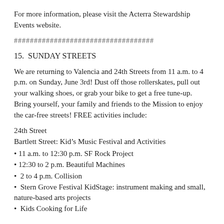For more information, please visit the Acterra Stewardship Events website.
###################################
15.  SUNDAY STREETS
We are returning to Valencia and 24th Streets from 11 a.m. to 4 p.m. on Sunday, June 3rd! Dust off those rollerskates, pull out your walking shoes, or grab your bike to get a free tune-up. Bring yourself, your family and friends to the Mission to enjoy the car-free streets! FREE activities include:
24th Street
Bartlett Street: Kid’s Music Festival and Activities
• 11 a.m. to 12:30 p.m. SF Rock Project
• 12:30 to 2 p.m. Beautiful Machines
•  2 to 4 p.m. Collision
•  Stern Grove Festival KidStage: instrument making and small, nature-based arts projects
•  Kids Cooking for Life